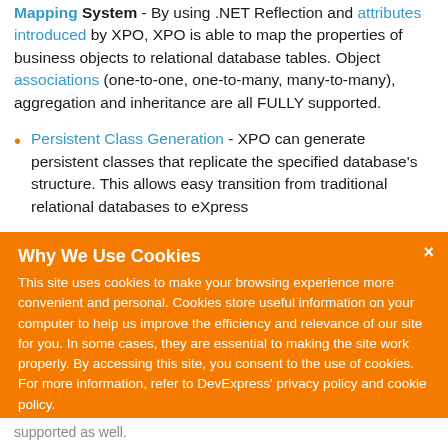Mapping System - By using .NET Reflection and attributes introduced by XPO, XPO is able to map the properties of business objects to relational database tables. Object associations (one-to-one, one-to-many, many-to-many), aggregation and inheritance are all FULLY supported.
Persistent Class Generation - XPO can generate persistent classes that replicate the specified database's structure. This allows easy transition from traditional relational databases to eXpress...
Why We Use Cookies
This site uses cookies to make your browsing experience more convenient and personal. Cookies store useful information on your computer to help us improve the efficiency and relevance of our site for you. In some cases, they are essential to making the site work properly. By accessing this site, you consent to the use of cookies. For more information, refer to DevExpress' privacy policy and cookie policy.
I UNDERSTAND
supported as well.